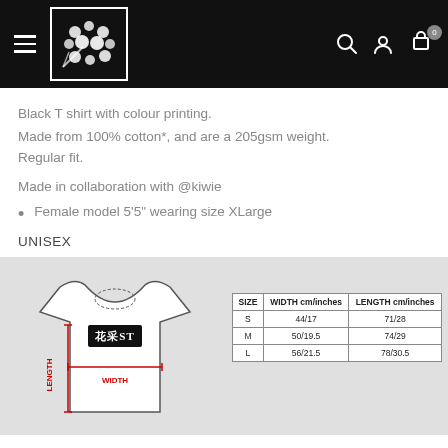Navigation header with logo and icons
Black T shirt with colour printing.
Made from 100% cotton*, and are a 205gsm weight. Regular fit.
Made in collaboration with @kiwie
Female model 5'5" wearing size XLarge
UNISEX
[Figure (illustration): T-shirt sizing diagram with WIDTH and LENGTH measurement lines marked in red, with a brand logo box on the chest]
| SIZE | WIDTH cm/inches | LENGTH cm/inches |
| --- | --- | --- |
| S | 44/17 | 71/28 |
| M | 50/19.5 | 74/29 |
| L | 56/21.5 | 78/30.5 |